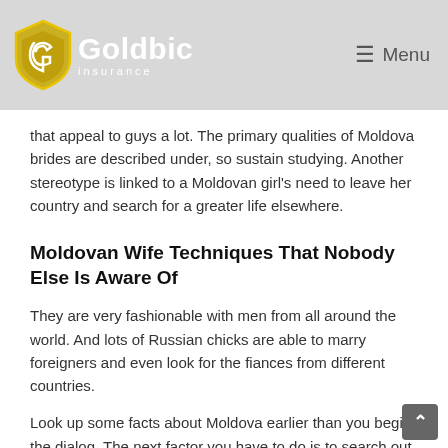Goldbic Insurance | Menu
that appeal to guys a lot. The primary qualities of Moldova brides are described under, so sustain studying. Another stereotype is linked to a Moldovan girl's need to leave her country and search for a greater life elsewhere.
Moldovan Wife Techniques That Nobody Else Is Aware Of
They are very fashionable with men from all around the world. And lots of Russian chicks are able to marry foreigners and even look for the fiances from different countries.
Look up some facts about Moldova earlier than you begin the dialog. The next factor you have to do is to search out a couple of profiles you have an interest in. It is all the time better to talk to a couple of girls before you choose one. Talking to one of them will